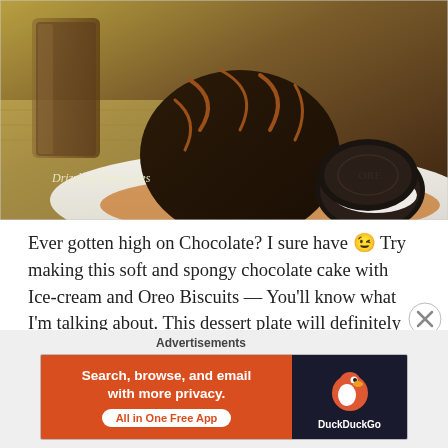[Figure (photo): A chocolate dessert cake with caramel/chocolate drizzle and an Oreo biscuit on a white plate, with a glass of chocolate drink in the background. Watermark reads 'Drizzling Delicacies'.]
Ever gotten high on Chocolate? I sure have 😉 Try making this soft and spongy chocolate cake with Ice-cream and Oreo Biscuits — You'll know what I'm talking about. This dessert plate will definitely take you to cloud 9. Baking a cake can be a really daunting thought for a newbie. It sure was for
Advertisements
[Figure (screenshot): DuckDuckGo advertisement banner: orange background on left with text 'Search, browse, and email with more privacy. All in One Free App', and dark panel on right with DuckDuckGo duck logo and 'DuckDuckGo' text.]